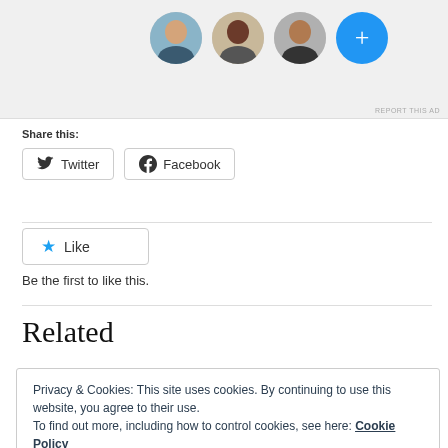[Figure (screenshot): Ad banner showing avatar photos of people and a blue plus button]
REPORT THIS AD
Share this:
Twitter
Facebook
Like
Be the first to like this.
Related
Privacy & Cookies: This site uses cookies. By continuing to use this website, you agree to their use.
To find out more, including how to control cookies, see here: Cookie Policy
Close and accept